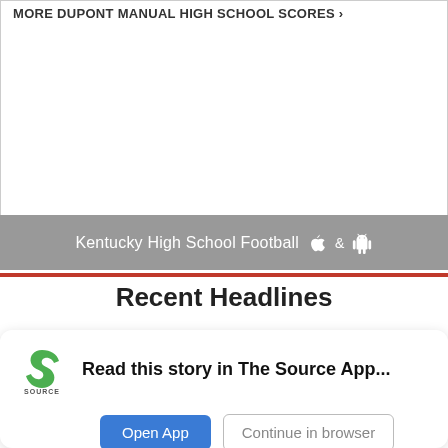MORE DUPONT MANUAL HIGH SCHOOL SCORES ›
[Figure (other): Gray bar with text 'Kentucky High School Football' and Apple and Android app icons]
Recent Headlines
[Figure (logo): Student News Source app logo — green S with 'SOURCE' text below]
Read this story in The Source App...
Open App
Continue in browser